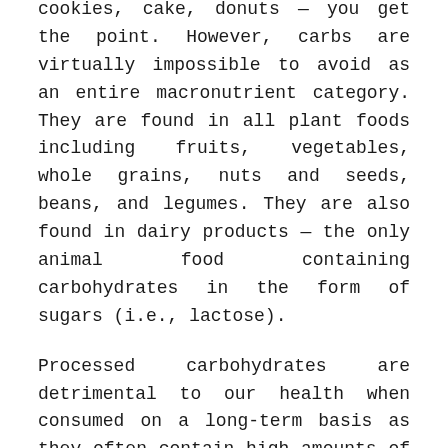cookies, cake, donuts — you get the point. However, carbs are virtually impossible to avoid as an entire macronutrient category. They are found in all plant foods including fruits, vegetables, whole grains, nuts and seeds, beans, and legumes. They are also found in dairy products — the only animal food containing carbohydrates in the form of sugars (i.e., lactose).
Processed carbohydrates are detrimental to our health when consumed on a long-term basis as they often contain high amounts of added sugars, fat, and preservatives. They typically spike blood sugar and over time, erratic blood sugar levels can lead to prediabetes and diabetes, hormone dysregulation, fatigue, weight gain, brain fog, and more. Unprocessed and unrefined carbs in the forms of whole grains, fruits, vegetables, nuts